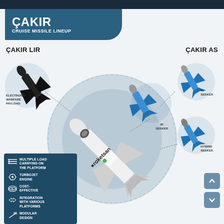ÇAKIR CRUISE MISSILE LINEUP
ÇAKIR LIR
ÇAKIR AS
[Figure (infographic): Infographic showing the ÇAKIR cruise missile lineup by Roketsan. Center: a white cruise missile with roketsan branding on a blue circular background. Left side: ÇAKIR LIR variant with electronic warfare payload shown in a bubble. Right side: ÇAKIR AS variant with three seeker options: IR Seeker, RF Seeker, and Hybrid Seeker, each shown in circular bubbles with blue missile illustrations. Bottom left: feature list panel with icons for multiple load carrying, turbojet engine, cost-effective, integration with various platforms, and modular design.]
MULTIPLE LOAD CARRYING ON THE PLATFORM
TURBOJET ENGINE
COST-EFFECTIVE
INTEGRATION WITH VARIOUS PLATFORMS
MODULAR DESIGN